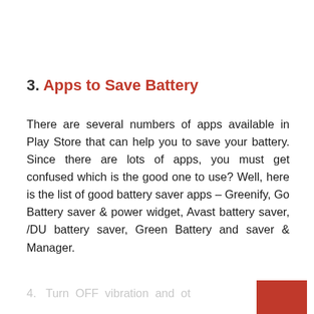3. Apps to Save Battery
There are several numbers of apps available in Play Store that can help you to save your battery. Since there are lots of apps, you must get confused which is the good one to use? Well, here is the list of good battery saver apps – Greenify, Go Battery saver & power widget, Avast battery saver, /DU battery saver, Green Battery and saver & Manager.
4.  Turn  OFF  vibration  and  ot